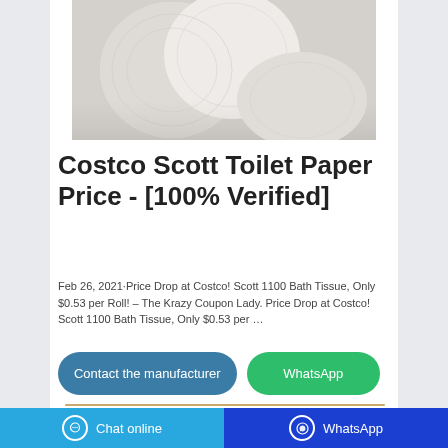[Figure (photo): Photo of white toilet paper rolls stacked together on a white/grey background]
Costco Scott Toilet Paper Price - [100% Verified]
Feb 26, 2021·Price Drop at Costco! Scott 1100 Bath Tissue, Only $0.53 per Roll! – The Krazy Coupon Lady. Price Drop at Costco! Scott 1100 Bath Tissue, Only $0.53 per …
Contact the manufacturer
WhatsApp
Chat online | WhatsApp